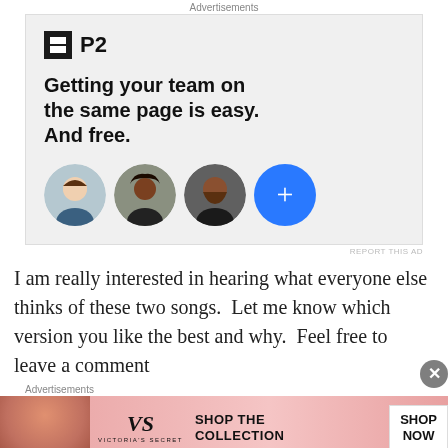Advertisements
[Figure (screenshot): P2 advertisement with logo, tagline 'Getting your team on the same page is easy. And free.' and three person avatars plus a blue plus button]
REPORT THIS AD
I am really interested in hearing what everyone else thinks of these two songs.  Let me know which version you like the best and why.  Feel free to leave a comment
Advertisements
[Figure (screenshot): Victoria's Secret advertisement: pink background with model photo, VS logo, 'SHOP THE COLLECTION' text and 'SHOP NOW' button]